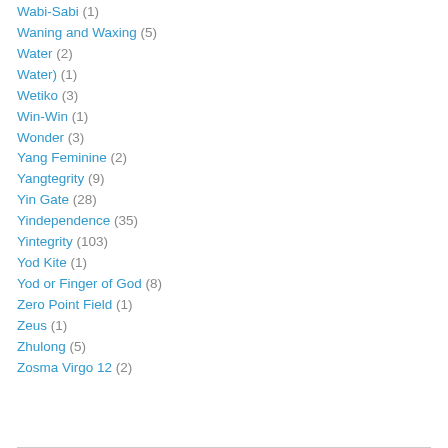Wabi-Sabi (1)
Waning and Waxing (5)
Water (2)
Water) (1)
Wetiko (3)
Win-Win (1)
Wonder (3)
Yang Feminine (2)
Yangtegrity (9)
Yin Gate (28)
Yindependence (35)
Yintegrity (103)
Yod Kite (1)
Yod or Finger of God (8)
Zero Point Field (1)
Zeus (1)
Zhulong (5)
Zosma Virgo 12 (2)